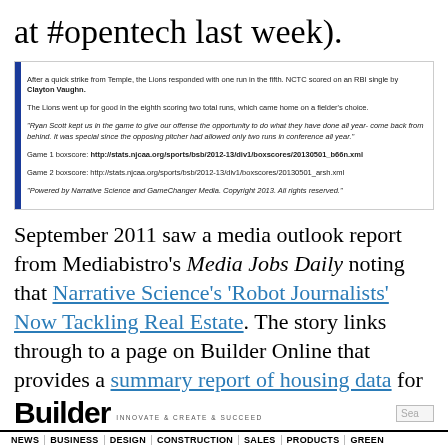at #opentech last week).
[Figure (screenshot): Screenshot of a news article excerpt with blue left border. Contains text about Lions baseball game, quotes, boxscore links, and Narrative Science/GameChanger Media copyright notice.]
September 2011 saw a media outlook report from Mediabistro's Media Jobs Daily noting that Narrative Science's 'Robot Journalists' Now Tackling Real Estate. The story links through to a page on Builder Online that provides a summary report of housing data for various US cities.
[Figure (screenshot): Builder Online website footer showing Builder logo with tagline INNOVATE & CREATE & SUCCEED, a search box, and navigation links: NEWS | BUSINESS | DESIGN | CONSTRUCTION | SALES | PRODUCTS | GREEN]